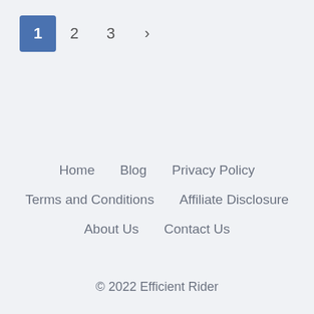1  2  3  >
Home  Blog  Privacy Policy
Terms and Conditions  Affiliate Disclosure
About Us  Contact Us
© 2022 Efficient Rider